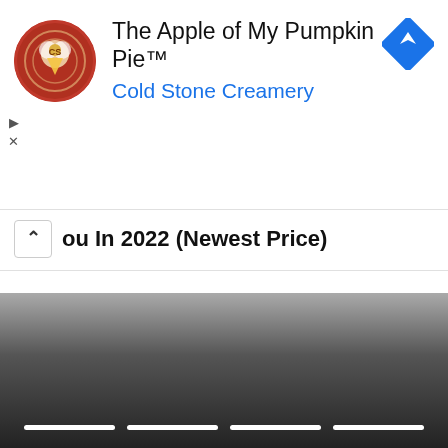[Figure (screenshot): Cold Stone Creamery advertisement banner with circular logo on left, text 'The Apple of My Pumpkin Pie™' and 'Cold Stone Creamery' in blue, and a blue navigation diamond icon on the right. Play and X controls on left side.]
you In 2022 (Newest Price)
Weight Loss | Sponsored
[Figure (screenshot): Bottom dark gradient area with four white horizontal line segments arranged in a row near the bottom.]